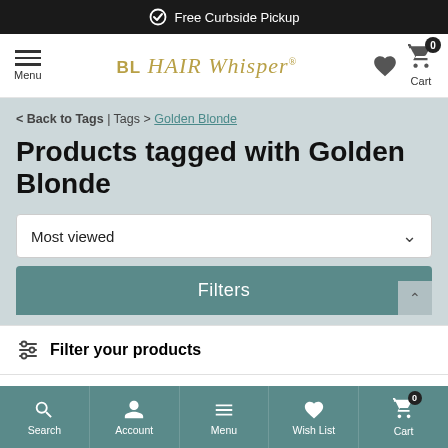Free Curbside Pickup
[Figure (logo): BL Hair Whisper logo with golden italic script]
< Back to Tags | Tags > Golden Blonde
Products tagged with Golden Blonde
Most viewed
Filters
Filter your products
Search | Account | Menu | Wish List | Cart